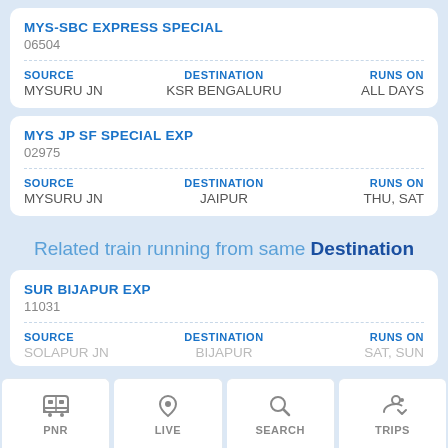MYS-SBC EXPRESS SPECIAL
06504
| SOURCE | DESTINATION | RUNS ON |
| --- | --- | --- |
| MYSURU JN | KSR BENGALURU | ALL DAYS |
MYS JP SF SPECIAL EXP
02975
| SOURCE | DESTINATION | RUNS ON |
| --- | --- | --- |
| MYSURU JN | JAIPUR | THU, SAT |
Related train running from same Destination
SUR BIJAPUR EXP
11031
| SOURCE | DESTINATION | RUNS ON |
| --- | --- | --- |
| SOLAPUR JN | BIJAPUR | SAT, SUN |